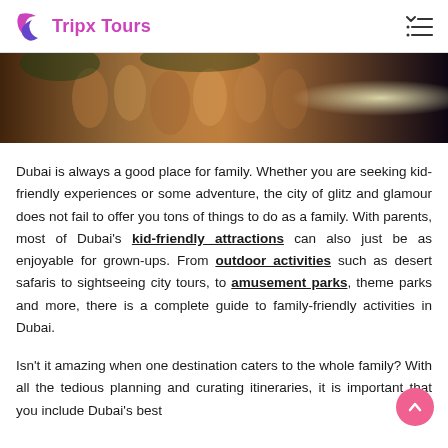Tripx Tours
[Figure (photo): Group of people enjoying an outdoor adventure activity, with a glowing light effect in the background]
Dubai is always a good place for family. Whether you are seeking kid-friendly experiences or some adventure, the city of glitz and glamour does not fail to offer you tons of things to do as a family. With parents, most of Dubai’s kid-friendly attractions can also just be as enjoyable for grown-ups. From outdoor activities such as desert safaris to sightseeing city tours, to amusement parks, theme parks and more, there is a complete guide to family-friendly activities in Dubai.
Isn’t it amazing when one destination caters to the whole family? With all the tedious planning and curating itineraries, it is important that you include Dubai’s best